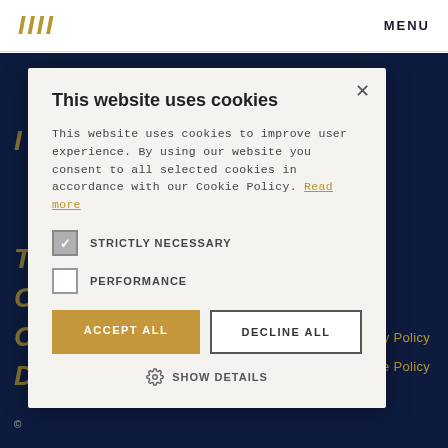IIII  MENU
This website uses cookies
This website uses cookies to improve user experience. By using our website you consent to all selected cookies in accordance with our Cookie Policy. Read more
STRICTLY NECESSARY
PERFORMANCE
ACCEPT ALL  DECLINE ALL
SHOW DETAILS
Privacy Policy
Cookie Policy